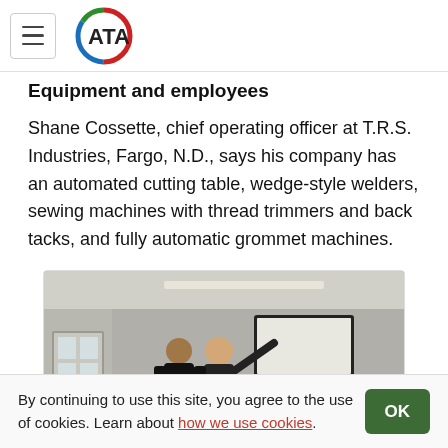ATA (logo and navigation bar)
Equipment and employees
Shane Cossette, chief operating officer at T.R.S. Industries, Fargo, N.D., says his company has an automated cutting table, wedge-style welders, sewing machines with thread trimmers and back tacks, and fully automatic grommet machines.
[Figure (photo): Two people standing in an office space with cubicles and computer monitors; one person is pointing toward a large screen mounted on the wall.]
By continuing to use this site, you agree to the use of cookies. Learn about how we use cookies.